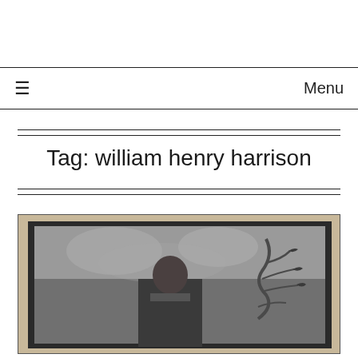≡   Menu
Tag: william henry harrison
[Figure (photo): Framed portrait photograph or engraving of William Henry Harrison, showing him from the waist up, with a tree branch visible to the right side, displayed in a dark wooden frame with a light mat.]